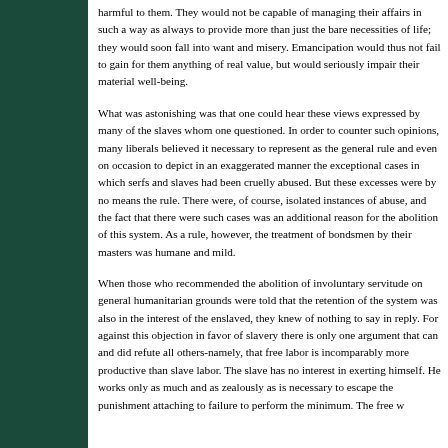harmful to them. They would not be capable of managing their affairs in such a way as always to provide more than just the bare necessities of life; they would soon fall into want and misery. Emancipation would thus not fail to gain for them anything of real value, but would seriously impair their material well-being. What was astonishing was that one could hear these views expressed by many of the slaves whom one questioned. In order to counter such opinions, many liberals believed it necessary to represent as the general rule and even on occasion to depict in an exaggerated manner the exceptional cases in which serfs and slaves had been cruelly abused. But these excesses were by no means the rule. There were, of course, isolated instances of abuse, and the fact that there were such cases was an additional reason for the abolition of this system. As a rule, however, the treatment of bondsmen by their masters was humane and mild. When those who recommended the abolition of involuntary servitude on general humanitarian grounds were told that the retention of the system was also in the interest of the enslaved, they knew of nothing to say in reply. For against this objection in favor of slavery there is only one argument that can and did refute all others-namely, that free labor is incomparably more productive than slave labor. The slave has no interest in exerting himself. He works only as much and as zealously as is necessary to escape the punishment attaching to failure to perform the minimum. The free w